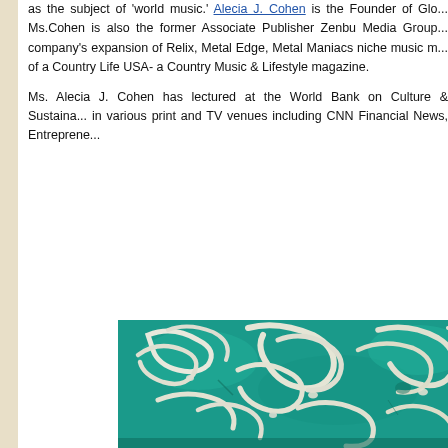as the subject of 'world music.' Alecia J. Cohen is the Founder of Glo... Ms.Cohen is also the former Associate Publisher Zenbu Media Group... company's expansion of Relix, Metal Edge, Metal Maniacs niche music m... of a Country Life USA- a Country Music & Lifestyle magazine.
Ms. Alecia J. Cohen has lectured at the World Bank on Culture & Sustaina... in various print and TV venues including CNN Financial News, Entreprene...
[Figure (photo): Close-up photograph of Arabic calligraphy in white paint or plaster on a teal/turquoise textured surface, likely a tile or wall.]